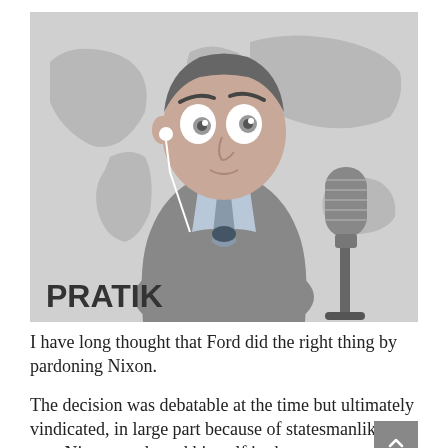[Figure (illustration): Cartoon illustration of a man in a grey suit with a tie and earbuds, set against a world map background. A vintage microphone is visible to his right. The label 'PRATIK' appears in bold dark text at the bottom left of the illustration.]
I have long thought that Ford did the right thing by pardoning Nixon.
The decision was debatable at the time but ultimately vindicated, in large part because of statesmanlike way Nixon conducted himself in the